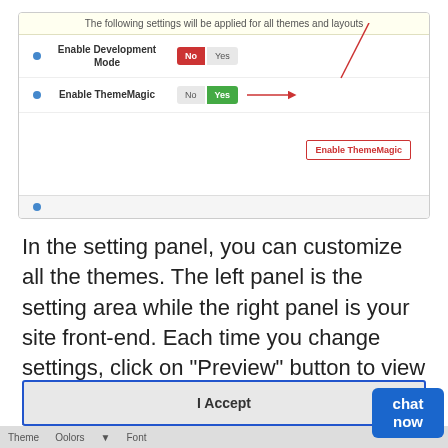[Figure (screenshot): Settings panel screenshot showing 'Enable Development Mode' toggle (No selected, red) and 'Enable ThemeMagic' toggle (Yes selected, green) with a callout box labeled 'Enable ThemeMagic' and a red arrow pointing to it.]
In the setting panel, you can customize all the themes. The left panel is the setting area while the right panel is your site front-end. Each time you change settings, click on "Preview" button to view the change in front-end on the right panel.
As you know, this template supports style for 4 columns as our demo but you can customize number of columns on Home layout in ThemeMagic.
We use cookies to maintain login sessions, analytics and to improve your experience on our website. By continuing to use our site, you accept our use of cookies, Terms of Use and Privacy Policy.
I Accept